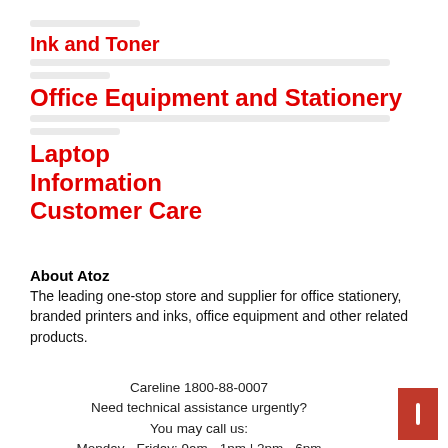Ink and Toner
Office Equipment and Stationery
Laptop
Information
Customer Care
About Atoz
The leading one-stop store and supplier for office stationery, branded printers and inks, office equipment and other related products.
Careline 1800-88-0007
Need technical assistance urgently?
You may call us:
Monday - Friday: 9am - 1pm | 2pm - 6pm